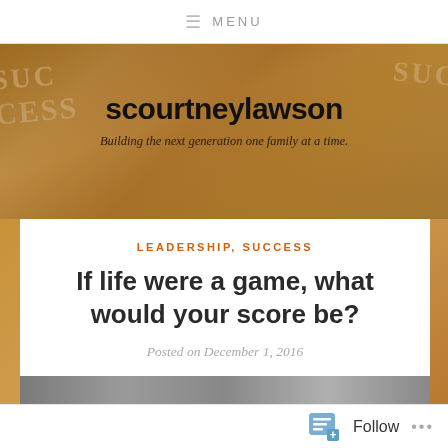MENU
[Figure (screenshot): Blog hero banner with golden/amber background showing 'SUCCESS' text watermarks and keys. Site title 'scourtneylawson' and tagline 'Building the next generation one family at a time.']
scourtneylawson
Building the next generation one family at a time.
LEADERSHIP, SUCCESS
If life were a game, what would your score be?
Posted on December 1, 2016
[Figure (photo): Partial bottom image strip, dark gray/textured background]
Follow ...